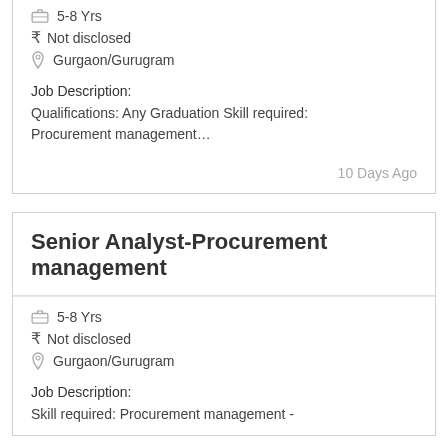5-8 Yrs
₹ Not disclosed
Gurgaon/Gurugram
Job Description:
Qualifications: Any Graduation Skill required: Procurement management…
10 Days Ago
Senior Analyst-Procurement management
5-8 Yrs
₹ Not disclosed
Gurgaon/Gurugram
Job Description:
Skill required: Procurement management -